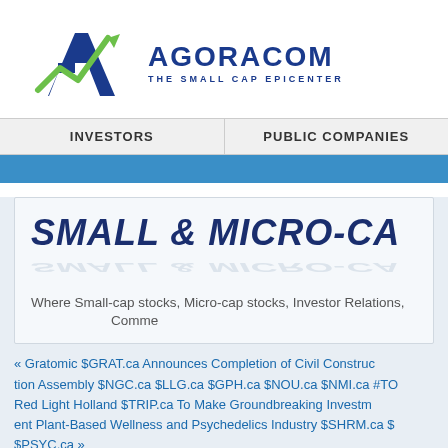[Figure (logo): AGORACOM logo with blue letter A and green upward arrow, text 'AGORACOM THE SMALL CAP EPICENTER']
INVESTORS   PUBLIC COMPANIES
SMALL & MICRO-CAP
Where Small-cap stocks, Micro-cap stocks, Investor Relations, Comme
« Gratomic $GRAT.ca Announces Completion of Civil Construction Assembly $NGC.ca $LLG.ca $GPH.ca $NOU.ca $NMI.ca #TO Red Light Holland $TRIP.ca To Make Groundbreaking Investment Plant-Based Wellness and Psychedelics Industry $SHRM.ca $ $PSYC.ca »